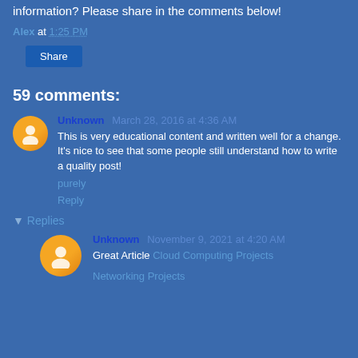information? Please share in the comments below!
Alex at 1:25 PM
Share
59 comments:
Unknown  March 28, 2016 at 4:36 AM
This is very educational content and written well for a change. It's nice to see that some people still understand how to write a quality post!
purely
Reply
Replies
Unknown  November 9, 2021 at 4:20 AM
Great Article Cloud Computing Projects
Networking Projects